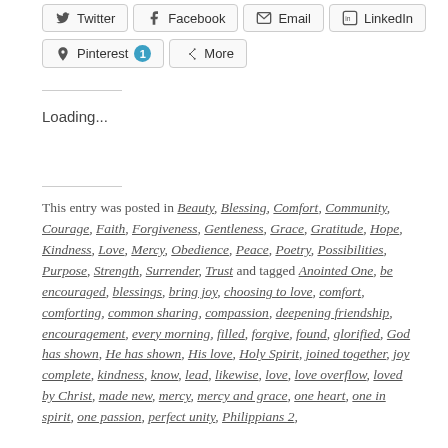[Figure (screenshot): Social sharing buttons: Twitter, Facebook, Email, LinkedIn, Pinterest (with badge 1), More]
Loading...
This entry was posted in Beauty, Blessing, Comfort, Community, Courage, Faith, Forgiveness, Gentleness, Grace, Gratitude, Hope, Kindness, Love, Mercy, Obedience, Peace, Poetry, Possibilities, Purpose, Strength, Surrender, Trust and tagged Anointed One, be encouraged, blessings, bring joy, choosing to love, comfort, comforting, common sharing, compassion, deepening friendship, encouragement, every morning, filled, forgive, found, glorified, God has shown, He has shown, His love, Holy Spirit, joined together, joy complete, kindness, know, lead, likewise, love, love overflow, loved by Christ, made new, mercy, mercy and grace, one heart, one in spirit, one passion, perfect unity, Philippians 2,